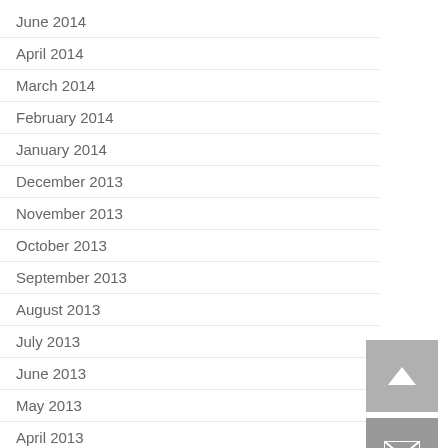June 2014
April 2014
March 2014
February 2014
January 2014
December 2013
November 2013
October 2013
September 2013
August 2013
July 2013
June 2013
May 2013
April 2013
March 2013
February 2013
[Figure (other): Up arrow button (scroll to top)]
[Figure (other): Email/envelope button]